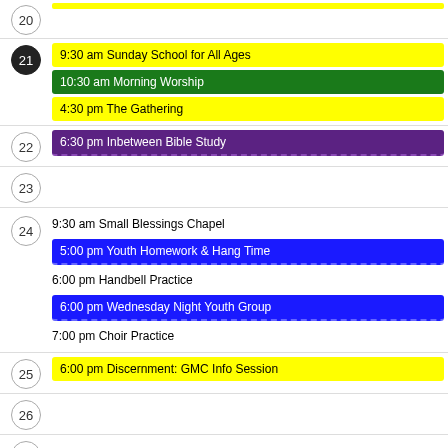20
21 - 9:30 am Sunday School for All Ages; 10:30 am Morning Worship; 4:30 pm The Gathering
22 - 6:30 pm Inbetween Bible Study
23
24 - 9:30 am Small Blessings Chapel; 5:00 pm Youth Homework & Hang Time; 6:00 pm Handbell Practice; 6:00 pm Wednesday Night Youth Group; 7:00 pm Choir Practice
25 - 6:00 pm Discernment: GMC Info Session
26
27